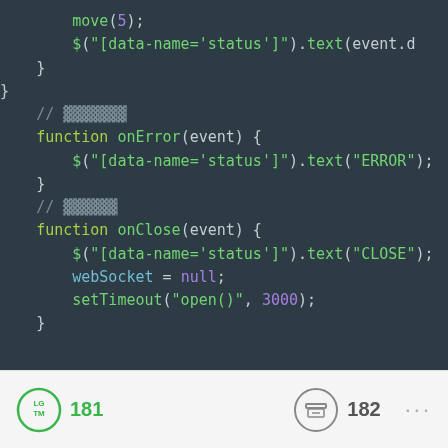[Figure (screenshot): Code editor screenshot showing JavaScript code with functions onError and onClose on a dark background (#2d3b45). Code includes move(5), jQuery status updates, error handling, WebSocket null assignment, and setTimeout reconnect logic.]
LGTM 181  [archive icon] 182  ...